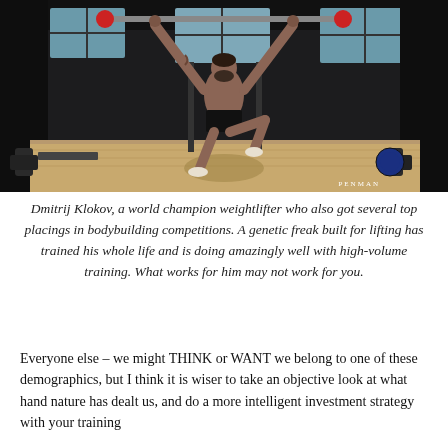[Figure (photo): Dmitrij Klokov, a shirtless male weightlifter, performing an overhead lift in a gym. He is mid-movement with one knee raised, holding a barbell overhead. The gym has dark walls, windows, and weightlifting equipment visible. A 'PENMAN' watermark is in the bottom right corner.]
Dmitrij Klokov, a world champion weightlifter who also got several top placings in bodybuilding competitions. A genetic freak built for lifting has trained his whole life and is doing amazingly well with high-volume training. What works for him may not work for you.
Everyone else – we might THINK or WANT we belong to one of these demographics, but I think it is wiser to take an objective look at what hand nature has dealt us, and do a more intelligent investment strategy with your training